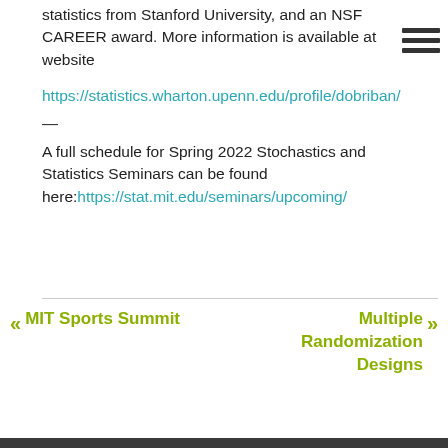statistics from Stanford University, and an NSF CAREER award. More information is available at website
https://statistics.wharton.upenn.edu/profile/dobriban/
—
A full schedule for Spring 2022 Stochastics and Statistics Seminars can be found here:https://stat.mit.edu/seminars/upcoming/
« MIT Sports Summit
Multiple Randomization Designs »